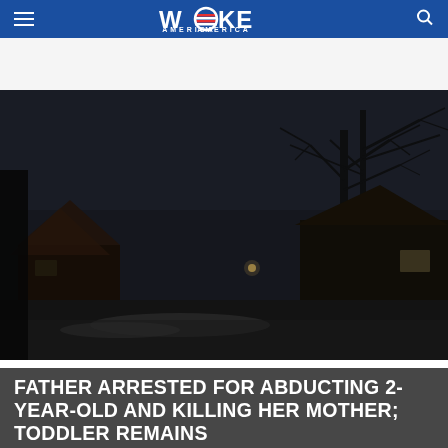WOKE AMERICA
[Figure (photo): Dark nighttime exterior photo of a residential house with bare trees, low lighting, a small light visible in the darkness, and snow on the ground.]
FATHER ARRESTED FOR ABDUCTING 2-YEAR-OLD AND KILLING HER MOTHER; TODDLER REMAINS